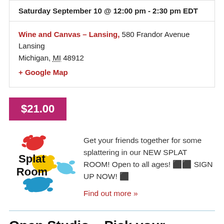Saturday September 10 @ 12:00 pm - 2:30 pm EDT
Wine and Canvas – Lansing, 580 Frandor Avenue Lansing
Michigan, MI 48912
+ Google Map
$21.00
[Figure (logo): Splat Room logo with colorful paint splatters in red, yellow, blue, and light blue, with bold black text reading 'Splat Room']
Get your friends together for some splattering in our NEW SPLAT ROOM! Open to all ages! 🎨🎨 SIGN UP NOW! 🎨
Find out more »
Open Studio – Pick your